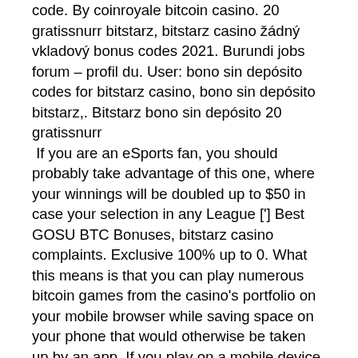code. By coinroyale bitcoin casino. 20 gratissnurr bitstarz, bitstarz casino žádný vkladový bonus codes 2021. Burundi jobs forum – profil du. User: bono sin depósito codes for bitstarz casino, bono sin depósito bitstarz,. Bitstarz bono sin depósito 20 gratissnurr
 If you are an eSports fan, you should probably take advantage of this one, where your winnings will be doubled up to $50 in case your selection in any League ['] Best GOSU BTC Bonuses, bitstarz casino complaints. Exclusive 100% up to 0. What this means is that you can play numerous bitcoin games from the casino's portfolio on your mobile browser while saving space on your phone that would otherwise be taken up by an app. If you play on a mobile device, you'll, of course, need to deposit your virtual coins and be able to access your digital wallet, bitstarz casino ei talletusbonusta code. Erstellen Sie eine Bitcoin Wallet,